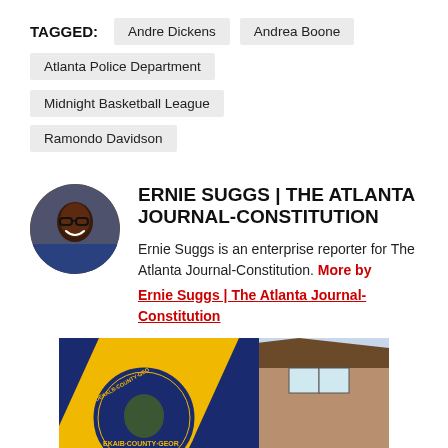TAGGED: Andre Dickens | Andrea Boone | Atlanta Police Department | Midnight Basketball League | Ramondo Davidson
ERNIE SUGGS | THE ATLANTA JOURNAL-CONSTITUTION
Ernie Suggs is an enterprise reporter for The Atlanta Journal-Constitution. More by Ernie Suggs | The Atlanta Journal-Constitution
[Figure (photo): DeKalb County Georgia seal overlaid on a house image, partially visible at bottom of page]